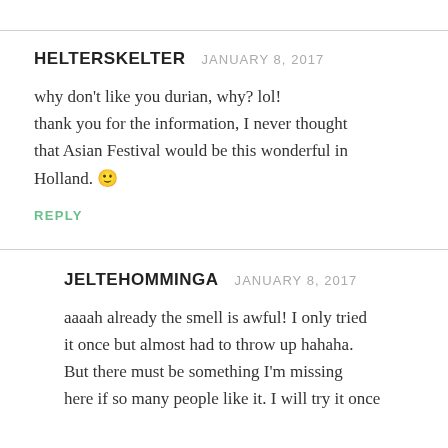HELTERSKELTER   JANUARY 8, 2017
why don't like you durian, why? lol! thank you for the information, I never thought that Asian Festival would be this wonderful in Holland. 🙂
REPLY
JELTEHOMMINGA   JANUARY 8, 2017
aaaah already the smell is awful! I only tried it once but almost had to throw up hahaha. But there must be something I'm missing here if so many people like it. I will try it once